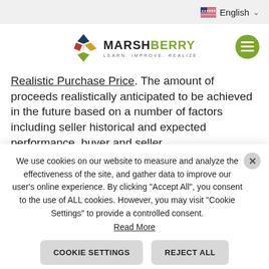English
[Figure (logo): MarshBerry logo with colorful diamond pattern icon and text MARSHBERRY LEARN. IMPROVE. REALIZE.]
Realistic Purchase Price. The amount of proceeds realistically anticipated to be achieved in the future based on a number of factors including seller historical and expected performance, buyer and seller
We use cookies on our website to measure and analyze the effectiveness of the site, and gather data to improve our user's online experience. By clicking "Accept All", you consent to the use of ALL cookies. However, you may visit "Cookie Settings" to provide a controlled consent. Read More
COOKIE SETTINGS
REJECT ALL
ACCEPT ALL